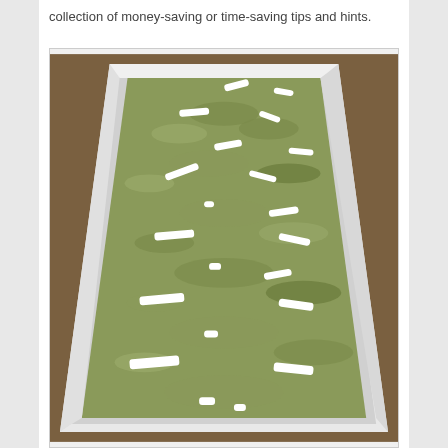collection of money-saving or time-saving tips and hints.
[Figure (photo): A white rectangular tray or container filled with green crumbly plant material (herbs or similar), with multiple small white cylindrical objects (capsules or sticks) arranged throughout the material at various angles.]